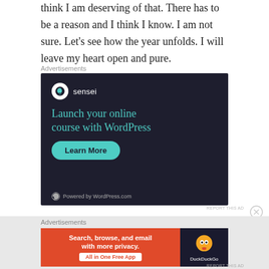think I am deserving of that. There has to be a reason and I think I know. I am not sure. Let's see how the year unfolds. I will leave my heart open and pure.
Advertisements
[Figure (other): Sensei advertisement: dark background with sensei logo, headline 'Launch your online course with WordPress', green Learn More button, Powered by WordPress.com footer]
REPORT THIS AD
Advertisements
[Figure (other): DuckDuckGo advertisement: orange and dark panel, text 'Search, browse, and email with more privacy. All in One Free App', DuckDuckGo duck logo on dark right side]